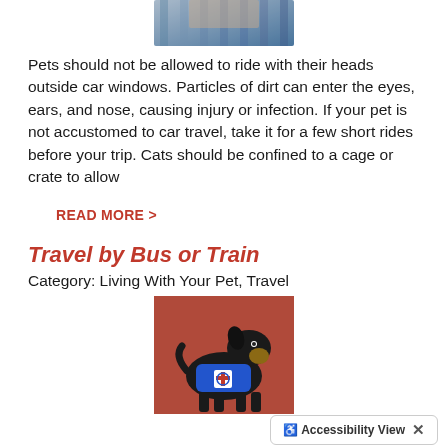[Figure (photo): Partial image of a pet near a car window, cropped at top]
Pets should not be allowed to ride with their heads outside car windows. Particles of dirt can enter the eyes, ears, and nose, causing injury or infection. If your pet is not accustomed to car travel, take it for a few short rides before your trip. Cats should be confined to a cage or crate to allow
READ MORE >
Travel by Bus or Train
Category: Living With Your Pet, Travel
[Figure (photo): A small black and tan dog wearing a blue service/medical vest, standing against a red/brown background]
Accessibility View  ×